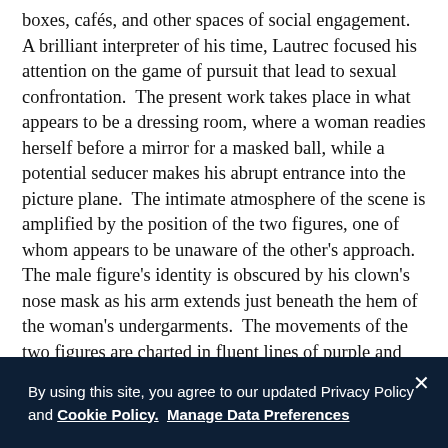boxes, cafés, and other spaces of social engagement.  A brilliant interpreter of his time, Lautrec focused his attention on the game of pursuit that lead to sexual confrontation.  The present work takes place in what appears to be a dressing room, where a woman readies herself before a mirror for a masked ball, while a potential seducer makes his abrupt entrance into the picture plane.  The intimate atmosphere of the scene is amplified by the position of the two figures, one of whom appears to be unaware of the other's approach.  The male figure's identity is obscured by his clown's nose mask as his arm extends just beneath the hem of the woman's undergarments.  The movements of the two figures are charted in fluent lines of purple and blue hues, and the furnishings are reduced to a minimum to focus on the action at hand.
In his essay about this picture in the Franck Collection
By using this site, you agree to our updated Privacy Policy and Cookie Policy.  Manage Data Preferences